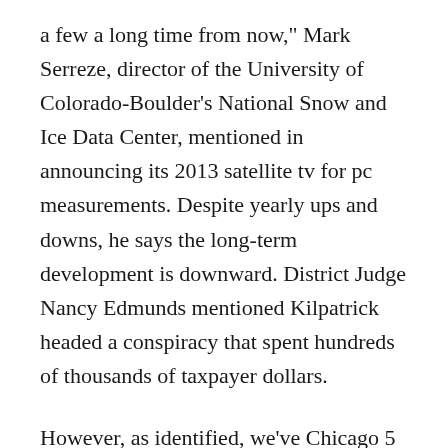a few a long time from now," Mark Serreze, director of the University of Colorado-Boulder's National Snow and Ice Data Center, mentioned in announcing its 2013 satellite tv for pc measurements. Despite yearly ups and downs, he says the long-term development is downward. District Judge Nancy Edmunds mentioned Kilpatrick headed a conspiracy that spent hundreds of thousands of taxpayer dollars.
However, as identified, we've Chicago 5 for NBC programming and Channel eight and 12 for alternate Milwaukee/Wisconsin news. And after we researched, we only watch one NBC prime time program. After all is alleged, I'm all for replacing TMJ with another NBC affiliate such as Madison or Janesville. Ordering accutane online Volquez made 5 begins and one reduction appearance for the Dodgers in 2013, who signed him after he was